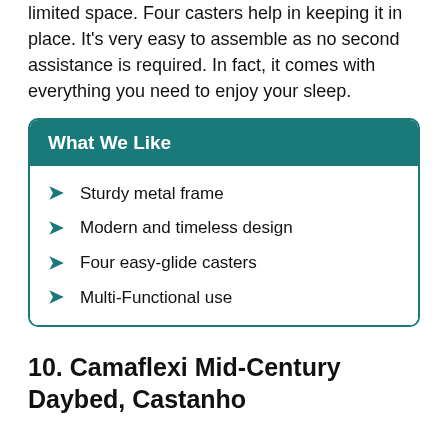limited space. Four casters help in keeping it in place. It's very easy to assemble as no second assistance is required. In fact, it comes with everything you need to enjoy your sleep.
What We Like
Sturdy metal frame
Modern and timeless design
Four easy-glide casters
Multi-Functional use
10. Camaflexi Mid-Century Daybed, Castanho